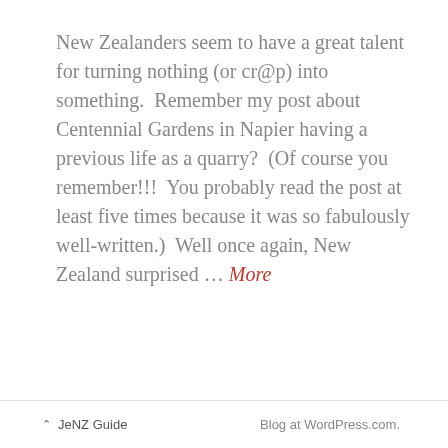New Zealanders seem to have a great talent for turning nothing (or cr@p) into something.  Remember my post about Centennial Gardens in Napier having a previous life as a quarry?  (Of course you remember!!!  You probably read the post at least five times because it was so fabulously well-written.)  Well once again, New Zealand surprised ... More
[Figure (screenshot): A light grey box containing a comment bubble icon and a chain/link icon]
[Figure (screenshot): A loading spinner icon centered on the page]
^ JeNZ Guide    Blog at WordPress.com.